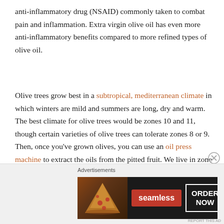anti-inflammatory drug (NSAID) commonly taken to combat pain and inflammation. Extra virgin olive oil has even more anti-inflammatory benefits compared to more refined types of olive oil.
Olive trees grow best in a subtropical, mediterranean climate in which winters are mild and summers are long, dry and warm. The best climate for olive trees would be zones 10 and 11, though certain varieties of olive trees can tolerate zones 8 or 9. Then, once you've grown olives, you can use an oil press machine to extract the oils from the pitted fruit. We live in zone 10a and are currently growing an olea europaea, which is the European variety.
[Figure (other): Seamless food delivery advertisement banner with pizza image, Seamless logo, and ORDER NOW button]